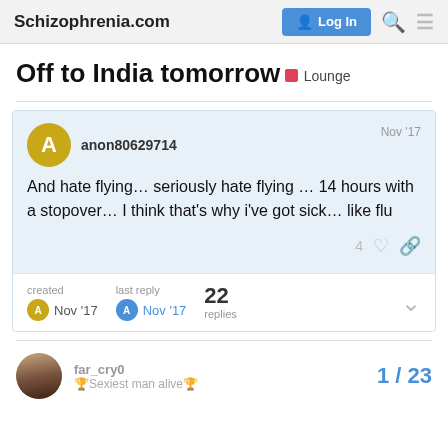Schizophrenia.com
Off to India tomorrow
Lounge
anon80629714  Nov '17
And hate flying… seriously hate flying … 14 hours with a stopover… I think that's why i've got sick… like flu
4
created Nov '17   last reply Nov '17   22 replies
far_cry0
🏆Sexiest man alive🏆
1 / 23